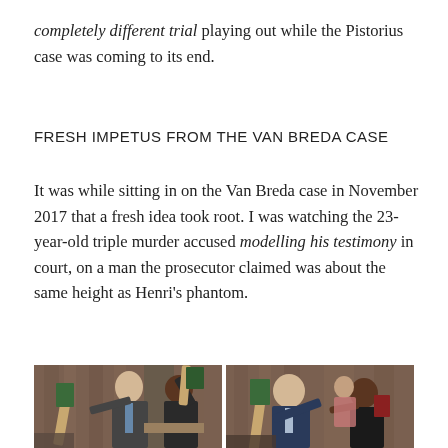completely different trial playing out while the Pistorius case was coming to its end.
FRESH IMPETUS FROM THE VAN BREDA CASE
It was while sitting in on the Van Breda case in November 2017 that a fresh idea took root. I was watching the 23-year-old triple murder accused modelling his testimony in court, on a man the prosecutor claimed was about the same height as Henri's phantom.
[Figure (photo): Two side-by-side courtroom photographs showing a young man in a suit holding what appears to be a replica axe/weapon prop, interacting with another person in a courtroom setting with wooden paneling in the background.]